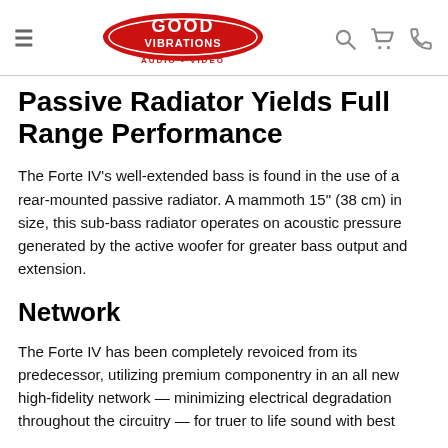Good Vibrations Audio Video
Passive Radiator Yields Full Range Performance
The Forte IV's well-extended bass is found in the use of a rear-mounted passive radiator. A mammoth 15" (38 cm) in size, this sub-bass radiator operates on acoustic pressure generated by the active woofer for greater bass output and extension.
Network
The Forte IV has been completely revoiced from its predecessor, utilizing premium componentry in an all new high-fidelity network — minimizing electrical degradation throughout the circuitry — for truer to life sound with best